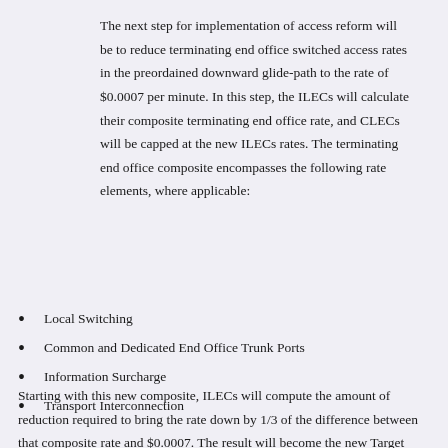The next step for implementation of access reform will be to reduce terminating end office switched access rates in the preordained downward glide-path to the rate of $0.0007 per minute. In this step, the ILECs will calculate their composite terminating end office rate, and CLECs will be capped at the new ILECs rates. The terminating end office composite encompasses the following rate elements, where applicable:
Local Switching
Common and Dedicated End Office Trunk Ports
Information Surcharge
Transport Interconnection
Starting with this new composite, ILECs will compute the amount of reduction required to bring the rate down by 1/3 of the difference between that composite rate and $0.0007. The result will become the new Target Composite. Each ILEC can reach the Target Composite by reducing individual rate elements, or by creating a single composite rate element to